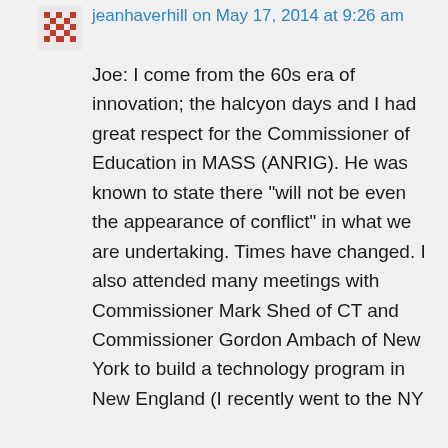jeanhaverhill on May 17, 2014 at 9:26 am
Joe: I come from the 60s era of innovation; the halcyon days and I had great respect for the Commissioner of Education in MASS (ANRIG). He was known to state there “will not be even the appearance of conflict” in what we are undertaking. Times have changed. I also attended many meetings with Commissioner Mark Shed of CT and Commissioner Gordon Ambach of New York to build a technology program in New England (I recently went to the NY